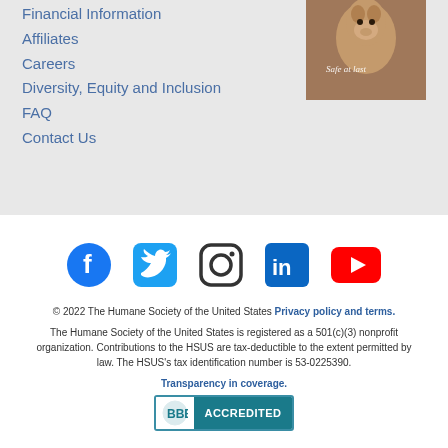Financial Information
Affiliates
Careers
Diversity, Equity and Inclusion
FAQ
Contact Us
[Figure (photo): Close-up photo of an animal (appears to be a llama or alpaca) with text 'Safe at last' overlaid]
[Figure (illustration): Social media icons row: Facebook (blue circle with f), Twitter (blue square with bird), Instagram (rounded square outline with circle), LinkedIn (blue square with in), YouTube (red rectangle with play button)]
© 2022 The Humane Society of the United States Privacy policy and terms.
The Humane Society of the United States is registered as a 501(c)(3) nonprofit organization. Contributions to the HSUS are tax-deductible to the extent permitted by law. The HSUS's tax identification number is 53-0225390.
Transparency in coverage.
[Figure (logo): BBB Accredited badge with teal/white styling]